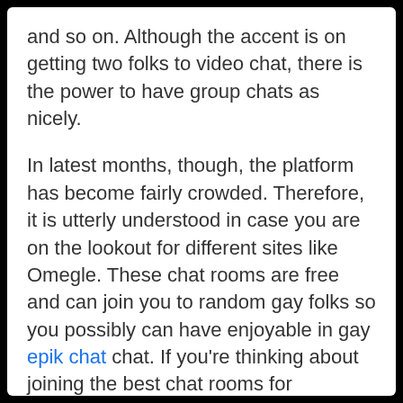and so on. Although the accent is on getting two folks to video chat, there is the power to have group chats as nicely.

In latest months, though, the platform has become fairly crowded. Therefore, it is utterly understood in case you are on the lookout for different sites like Omegle. These chat rooms are free and can join you to random gay folks so you possibly can have enjoyable in gay epik chat chat. If you're thinking about joining the best chat rooms for homosexual folks, take a look at the features that it offers to enhance your chatting expertise. Strangercam is a prime random video chat site with hundreds of